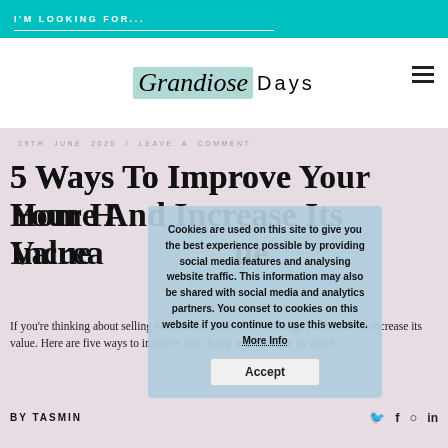I'M LOOKING FOR...
[Figure (logo): Grandiose Days blog logo with script and sans-serif text]
29TH JUNE 2020 / LEAVE A COMMENT
5 Ways To Improve Your Home And Increase Its Value
If you're thinking about selling your home, there's lots of things you can do to increase its value. Here are five ways you can improve your home and increase its value.
[Figure (screenshot): Cookie consent popup overlay: 'Cookies are used on this site to give you the best experience possible by providing social media features and analysing website traffic. This information may also be shared with social media and analytics partners. You conset to cookies on this website if you continue to use this website. More Info' with Accept button]
BY TASMIN